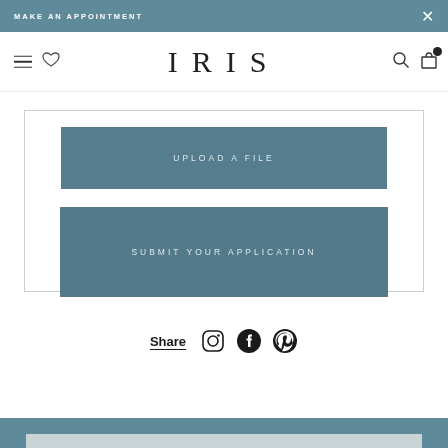MAKE AN APPOINTMENT
[Figure (screenshot): IRIS website navigation bar with hamburger menu, heart icon, IRIS logo, search icon, bag icon, and notification dot]
[Figure (screenshot): UPLOAD A FILE button - steel blue rectangular button with white uppercase text]
[Figure (screenshot): SUBMIT YOUR APPLICATION button - steel blue rectangular button with white uppercase text]
Share
[Figure (screenshot): Social media icons: Instagram, Facebook, Pinterest]